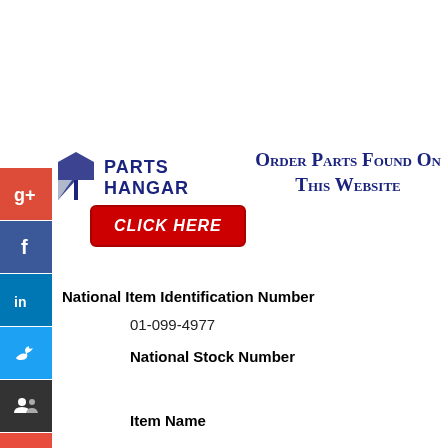[Figure (logo): Parts Hangar logo with stylized P icon and company name]
[Figure (infographic): Red 'CLICK HERE' button]
Order Parts Found On This Website
National Item Identification Number
01-099-4977
National Stock Number
Item Name